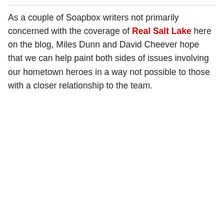As a couple of Soapbox writers not primarily concerned with the coverage of Real Salt Lake here on the blog, Miles Dunn and David Cheever hope that we can help paint both sides of issues involving our hometown heroes in a way not possible to those with a closer relationship to the team.